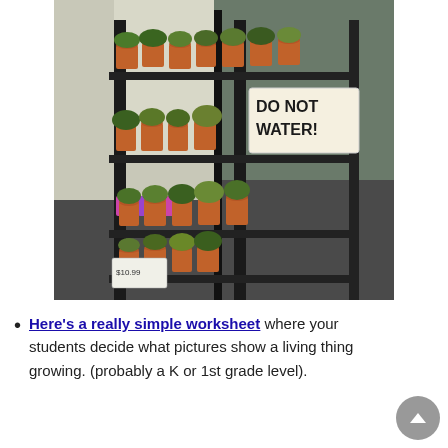[Figure (photo): A multi-tiered black metal plant rack display holding many small succulents and other plants in terracotta and pink/purple pots, inside what appears to be a store. A handwritten sign reads 'DO NOT WATER!' on white paper attached to the upper right area of the rack.]
Here's a really simple worksheet where your students decide what pictures show a living thing growing. (probably a K or 1st grade level).